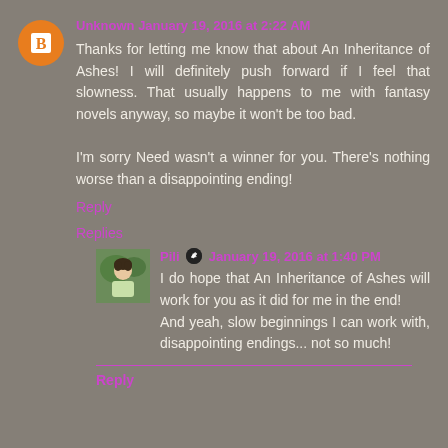Unknown January 19, 2016 at 2:22 AM
Thanks for letting me know that about An Inheritance of Ashes! I will definitely push forward if I feel that slowness. That usually happens to me with fantasy novels anyway, so maybe it won't be too bad.

I'm sorry Need wasn't a winner for you. There's nothing worse than a disappointing ending!
Reply
Replies
Pili January 19, 2016 at 1:40 PM
I do hope that An Inheritance of Ashes will work for you as it did for me in the end!
And yeah, slow beginnings I can work with, disappointing endings... not so much!
Reply